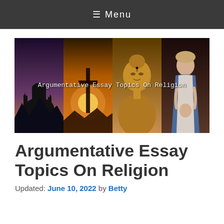≡ Menu
[Figure (photo): Composite banner image showing four religious scenes side by side: a mosque silhouette at sunset, a cross at golden sunset, a golden Buddha statue, and a Virgin Mary statue. White text overlay reads 'Argumentative Essay Topics On Religion']
Argumentative Essay Topics On Religion
Updated: June 10, 2022 by Betty